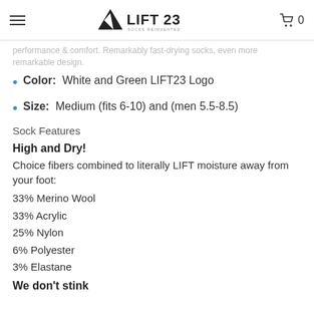LIFT 23 — navigation header with menu, logo, and cart
performance & comfort. Remarkably fast-drying socks, even more remarkable design.
Color:  White and Green LIFT23 Logo
Size:  Medium (fits 6-10) and (men 5.5-8.5)
Sock Features
High and Dry!
Choice fibers combined to literally LIFT moisture away from your foot:
33% Merino Wool
33% Acrylic
25% Nylon
6% Polyester
3% Elastane
We don't stink